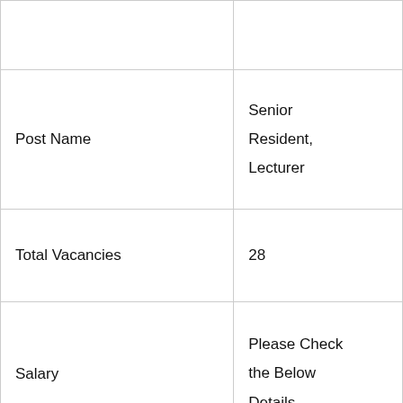|  |  |
| Post Name | Senior Resident, Lecturer |
| Total Vacancies | 28 |
| Salary | Please Check the Below Details |
| Job Location | Goa |